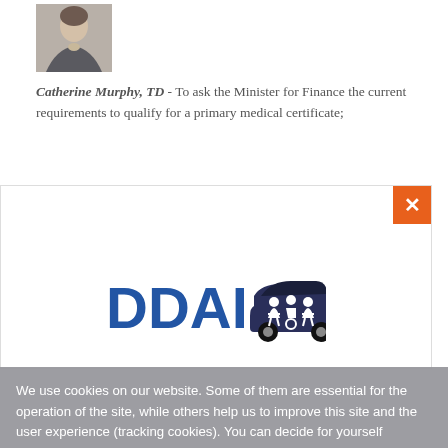[Figure (photo): Small portrait photo of a person (Catherine Murphy, TD) in formal attire]
Catherine Murphy, TD - To ask the Minister for Finance the current requirements to qualify for a primary medical certificate;
[Figure (logo): DDAI logo — blue text DDAI with car and people icons in dark blue]
We use cookies on our website. Some of them are essential for the operation of the site, while others help us to improve this site and the user experience (tracking cookies). You can decide for yourself whether you want to allow cookies or not. Please note that if you reject them, you may not be able to use all the functionalities of the site.
OK
Privacy Policy